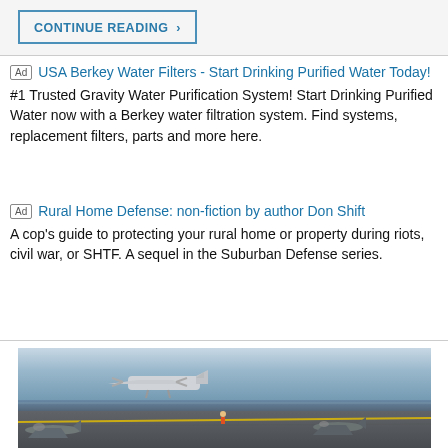CONTINUE READING ›
Ad  USA Berkey Water Filters - Start Drinking Purified Water Today!
#1 Trusted Gravity Water Purification System! Start Drinking Purified Water now with a Berkey water filtration system. Find systems, replacement filters, parts and more here.
Ad  Rural Home Defense: non-fiction by author Don Shift
A cop's guide to protecting your rural home or property during riots, civil war, or SHTF. A sequel in the Suburban Defense series.
[Figure (photo): Aircraft carrier deck with jet fighters parked and a military transport/patrol aircraft (C-2 Greyhound or similar) taking off or landing, ocean visible in background]